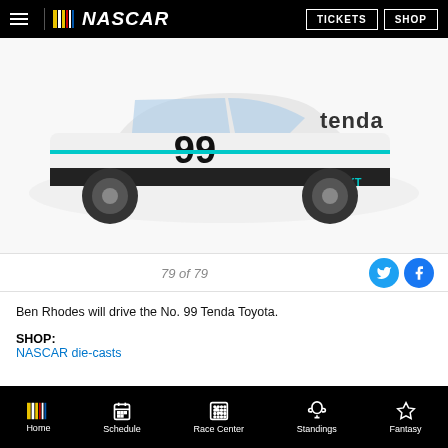NASCAR | TICKETS | SHOP
[Figure (photo): White NASCAR truck #99 with Tenda branding in side profile view]
79 of 79
Ben Rhodes will drive the No. 99 Tenda Toyota.
SHOP:
NASCAR die-casts
Behind the scenes: Jennerstown Speedway in photos
By Brandon White | Wednesday, May 25, 2022
Home | Schedule | Race Center | Standings | Fantasy